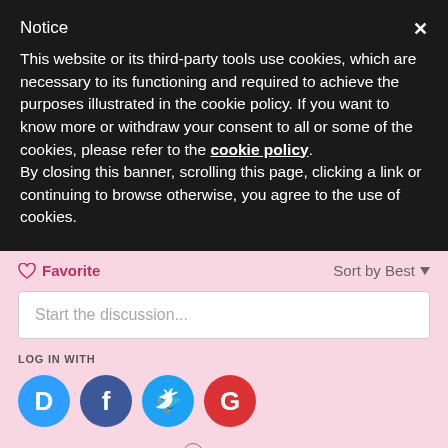Notice
This website or its third-party tools use cookies, which are necessary to its functioning and required to achieve the purposes illustrated in the cookie policy. If you want to know more or withdraw your consent to all or some of the cookies, please refer to the cookie policy.
By closing this banner, scrolling this page, clicking a link or continuing to browse otherwise, you agree to the use of cookies.
♡ Favorite
Sort by Best ▾
Start the discussion...
LOG IN WITH
[Figure (logo): Four social login icons: Disqus (blue D), Facebook (dark blue F), Twitter (light blue bird), Google (red G)]
OR SIGN UP WITH DISQUS ?
Name